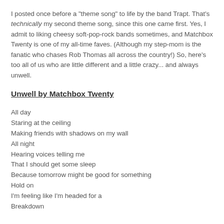I posted once before a "theme song" to life by the band Trapt. That's technically my second theme song, since this one came first. Yes, I admit to liking cheesy soft-pop-rock bands sometimes, and Matchbox Twenty is one of my all-time faves. (Although my step-mom is the fanatic who chases Rob Thomas all across the country!) So, here's too all of us who are little different and a little crazy... and always unwell.
Unwell by Matchbox Twenty
All day
Staring at the ceiling
Making friends with shadows on my wall
All night
Hearing voices telling me
That I should get some sleep
Because tomorrow might be good for something
Hold on
I'm feeling like I'm headed for a
Breakdown